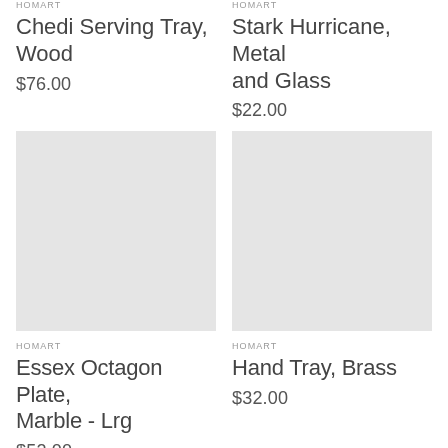HOMART
Chedi Serving Tray, Wood
$76.00
HOMART
Stark Hurricane, Metal and Glass
$22.00
[Figure (photo): Product image placeholder - light gray square for Essex Octagon Plate, Marble - Lrg]
[Figure (photo): Product image placeholder - light gray square for Hand Tray, Brass]
HOMART
Essex Octagon Plate, Marble - Lrg
$52.00
HOMART
Hand Tray, Brass
$32.00